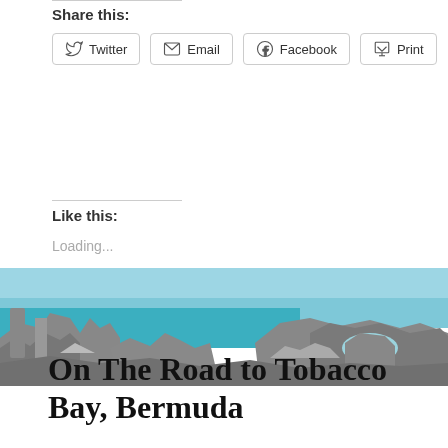Share this:
Twitter  Email  Facebook  Print
Like this:
Loading...
[Figure (photo): Coastal rocky landscape with turquoise sea and blue sky — Tobacco Bay area, Bermuda]
On The Road to Tobacco Bay, Bermuda